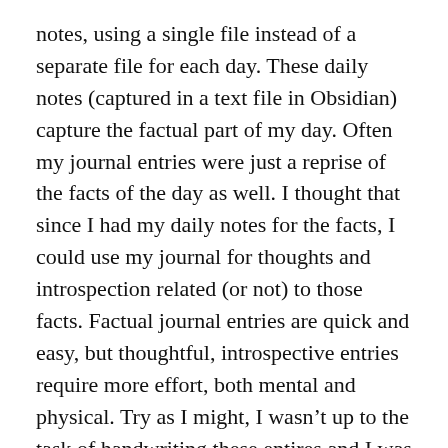notes, using a single file instead of a separate file for each day. These daily notes (captured in a text file in Obsidian) capture the factual part of my day. Often my journal entries were just a reprise of the facts of the day as well. I thought that since I had my daily notes for the facts, I could use my journal for thoughts and introspection related (or not) to those facts. Factual journal entries are quick and easy, but thoughtful, introspective entries require more effort, both mental and physical. Try as I might, I wasn't up to the task of handwriting these entires and I was losing them because of that.
That is when I decided (back on January 10) to switch to keeping my journal in Obsidian again. This time, however, I am doing it as a deliberate experiment, and I have some ideas on making this ideal for me in